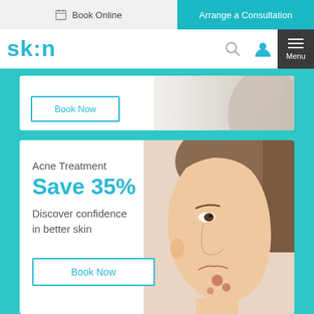Book Online | Arrange a Consultation
[Figure (logo): sk:n brand logo with search, account, basket and menu icons]
[Figure (photo): Partial view of person in grey shirt - top card]
Acne Treatment
Save 35%
Discover confidence in better skin
Book Now
[Figure (photo): Side profile of woman with acne on chin/cheek]